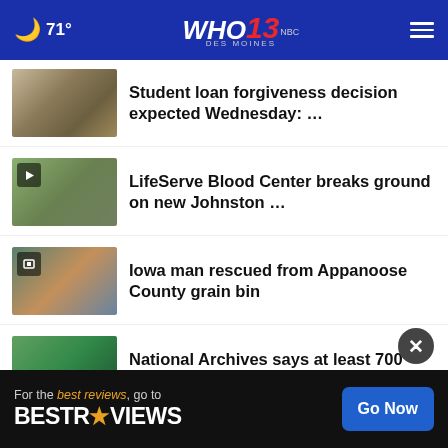🌙 71° — WHO 13 Des Moines NBC
Student loan forgiveness decision expected Wednesday: …
LifeServe Blood Center breaks ground on new Johnston …
Iowa man rescued from Appanoose County grain bin
National Archives says at least 700 pages of classified …
Manslaughter charge filed in deadly Iowa boating …
…sota
For the best reviews, go to BESTREVIEWS — Go Now